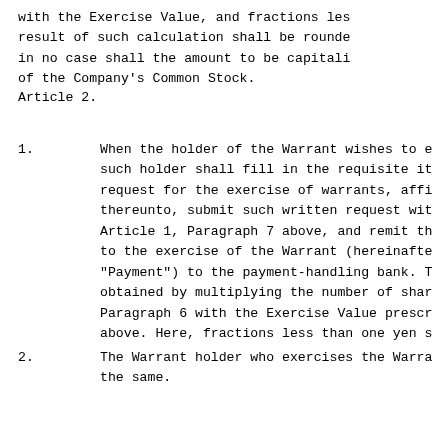with the Exercise Value, and fractions les result of such calculation shall be rounde in no case shall the amount to be capitali of the Company's Common Stock.
Article 2.
1. When the holder of the Warrant wishes to e such holder shall fill in the requisite it request for the exercise of warrants, affi thereunto, submit such written request wit Article 1, Paragraph 7 above, and remit th to the exercise of the Warrant (hereinafte "Payment") to the payment-handling bank. T obtained by multiplying the number of shar Paragraph 6 with the Exercise Value prescr above. Here, fractions less than one yen s
2. The Warrant holder who exercises the Warra the same.